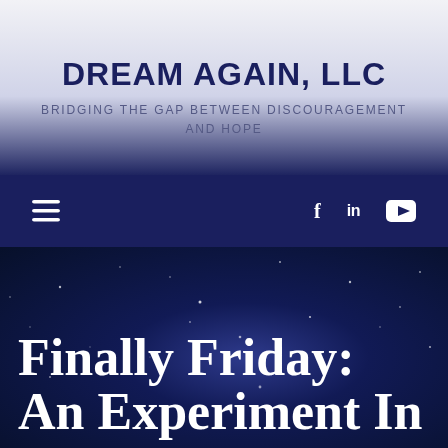DREAM AGAIN, LLC
BRIDGING THE GAP BETWEEN DISCOURAGEMENT AND HOPE
[Figure (other): Navigation bar with hamburger menu icon on the left and social media icons (Facebook, LinkedIn, YouTube) on the right, on a dark navy background]
Finally Friday: An Experiment In